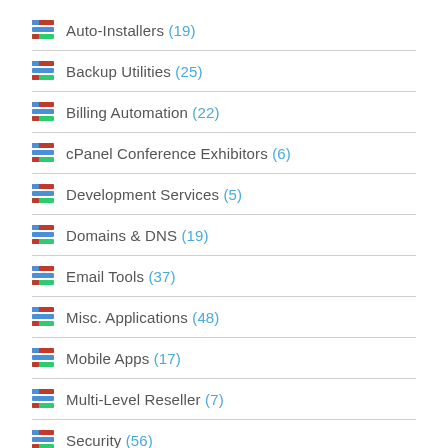Auto-Installers (19)
Backup Utilities (25)
Billing Automation (22)
cPanel Conference Exhibitors (6)
Development Services (5)
Domains & DNS (19)
Email Tools (37)
Misc. Applications (48)
Mobile Apps (17)
Multi-Level Reseller (7)
Security (56)